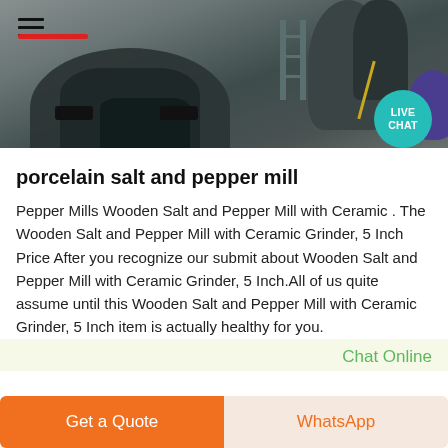[Figure (photo): Industrial machinery photo showing large dark cone/bowl shaped mill equipment from above, with workers and ladders visible. Red stripe and hamburger menu icon overlay. Live Chat teal circle button in top right.]
porcelain salt and pepper mill
Pepper Mills Wooden Salt and Pepper Mill with Ceramic . The Wooden Salt and Pepper Mill with Ceramic Grinder, 5 Inch Price After you recognize our submit about Wooden Salt and Pepper Mill with Ceramic Grinder, 5 Inch.All of us quite assume until this Wooden Salt and Pepper Mill with Ceramic Grinder, 5 Inch item is actually healthy for you.
Chat Online
Get a Quote
WhatsApp